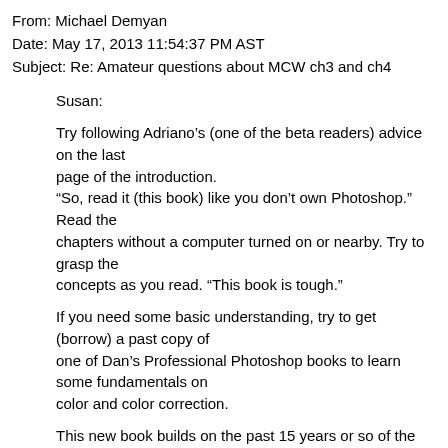From: Michael Demyan
Date: May 17, 2013 11:54:37 PM AST
Subject: Re: Amateur questions about MCW ch3 and ch4
Susan:
Try following Adriano's (one of the beta readers) advice on the last page of the introduction. “So, read it (this book) like you don’t own Photoshop.” Read the chapters without a computer turned on or nearby. Try to grasp the concepts as you read. “This book is tough.”
If you need some basic understanding, try to get (borrow) a past copy of one of Dan’s Professional Photoshop books to learn some fundamentals on color and color correction.
This new book builds on the past 15 years or so of the methods Dan has been teaching, and is a culmination of the knowledge